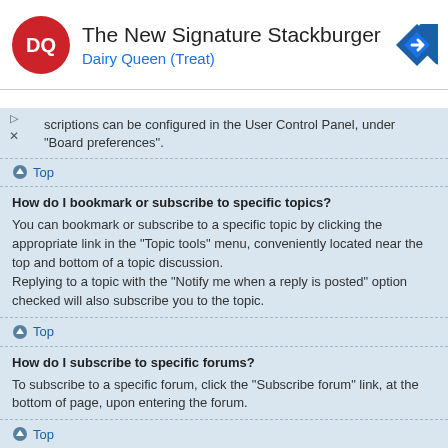[Figure (advertisement): Dairy Queen advertisement banner showing DQ logo, title 'The New Signature Stackburger', subtitle 'Dairy Queen (Treat)', and a navigation/directions icon on the right]
scriptions can be configured in the User Control Panel, under "Board preferences".
Top
How do I bookmark or subscribe to specific topics?
You can bookmark or subscribe to a specific topic by clicking the appropriate link in the "Topic tools" menu, conveniently located near the top and bottom of a topic discussion.
Replying to a topic with the "Notify me when a reply is posted" option checked will also subscribe you to the topic.
Top
How do I subscribe to specific forums?
To subscribe to a specific forum, click the "Subscribe forum" link, at the bottom of page, upon entering the forum.
Top